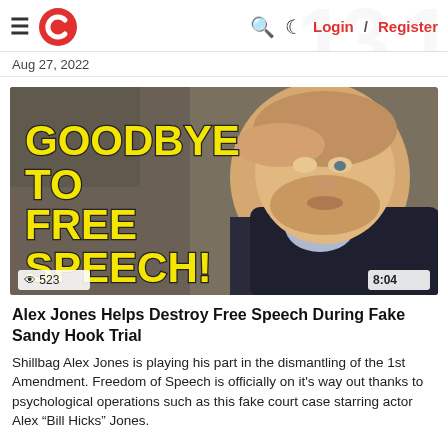≡ C Login / Register
Aug 27, 2022
[Figure (photo): Thumbnail image of a man in a suit with hand on forehead, overlaid with bold yellow text reading GOODBYE TO FREE SPEECH!, view count 523, duration 8:04]
Alex Jones Helps Destroy Free Speech During Fake Sandy Hook Trial
Shillbag Alex Jones is playing his part in the dismantling of the 1st Amendment. Freedom of Speech is officially on it's way out thanks to psychological operations such as this fake court case starring actor Alex "Bill Hicks" Jones.